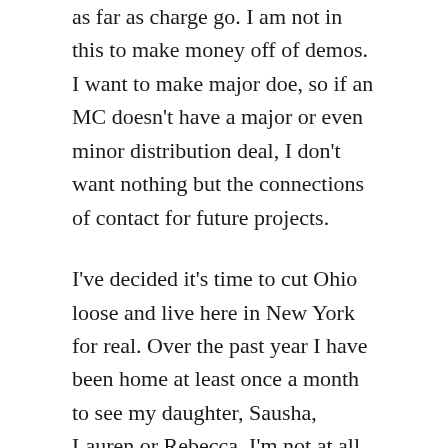as far as charge go. I am not in this to make money off of demos. I want to make major doe, so if an MC doesn't have a major or even minor distribution deal, I don't want nothing but the connections of contact for future projects.
I've decided it's time to cut Ohio loose and live here in New York for real. Over the past year I have been home at least once a month to see my daughter, Sausha, Lauren or Rebecca. I'm not at all attracted to Rebecca so she is the first to be gone off of my list of people not to see anymore. I let her come to visit me twice. She looks disgusting in clothing, like she is still pregnant, and that combined with our complicated past just turns me completely off. She is just lazy or works too much. She eats healthy, but she doesn't exercise often enough